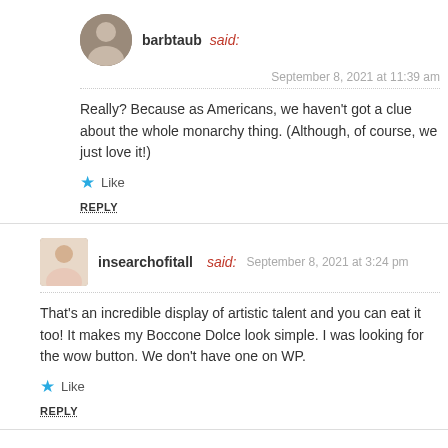barbtaub said: September 8, 2021 at 11:39 am
Really? Because as Americans, we haven't got a clue about the whole monarchy thing. (Although, of course, we just love it!)
Like
REPLY
insearchofitall said: September 8, 2021 at 3:24 pm
That's an incredible display of artistic talent and you can eat it too! It makes my Boccone Dolce look simple. I was looking for the wow button. We don't have one on WP.
Like
REPLY